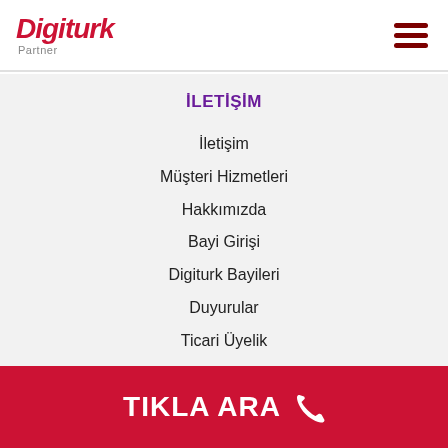Digiturk Partner
İLETİŞİM
İletişim
Müşteri Hizmetleri
Hakkımızda
Bayi Girişi
Digiturk Bayileri
Duyurular
Ticari Üyelik
Gizlilik Sözleşmesi
Aydınlatma Metni
TIKLA ARA